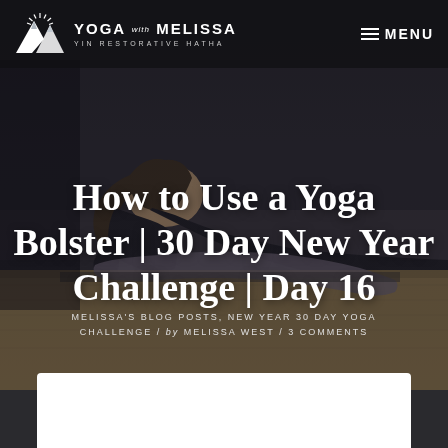[Figure (photo): Person doing a yoga pose on a mat, lying sideways on a bolster, photographed from the side in a dark/moody setting. Background includes wooden floor visible at bottom.]
YOGA with MELISSA | YIN RESTORATIVE HATHA | MENU
How to Use a Yoga Bolster | 30 Day New Year Challenge | Day 16
MELISSA'S BLOG POSTS, NEW YEAR 30 DAY YOGA CHALLENGE / by MELISSA WEST / 3 COMMENTS